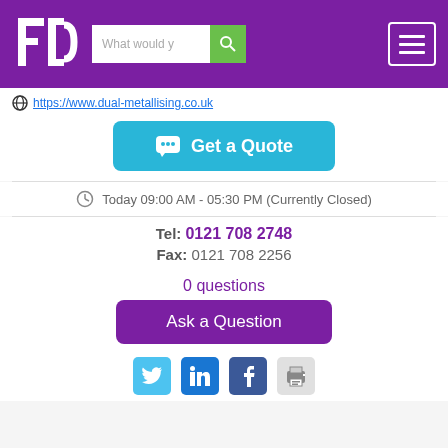[Figure (screenshot): Website header with FD logo, search bar with 'What would y' placeholder and green search button, and hamburger menu button on purple background]
https://www.dual-metallising.co.uk
[Figure (other): Teal 'Get a Quote' button with speech bubble icon]
Today 09:00 AM - 05:30 PM (Currently Closed)
Tel: 0121 708 2748
Fax: 0121 708 2256
0 questions
[Figure (other): Purple 'Ask a Question' button]
[Figure (other): Social media icons: Twitter (blue bird), LinkedIn (blue in), Facebook (dark blue f), and print icon]